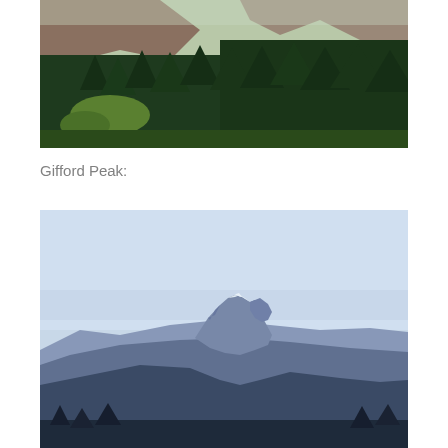[Figure (photo): Aerial/landscape photo of forested mountain slope with tall evergreen fir trees in the foreground and a rocky mountain peak visible in the background under a hazy sky. A green clearing is visible in the lower left portion of the image.]
Gifford Peak:
[Figure (photo): Distant mountain landscape photo showing Gifford Peak, a rocky peaked summit with remnants of snow, rising above a series of dark blue-hued forested ridgelines under a pale blue hazy sky.]